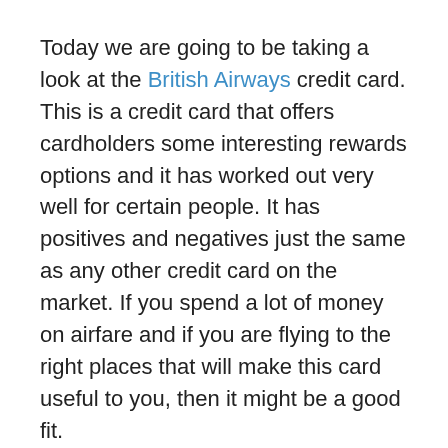Today we are going to be taking a look at the British Airways credit card. This is a credit card that offers cardholders some interesting rewards options and it has worked out very well for certain people. It has positives and negatives just the same as any other credit card on the market. If you spend a lot of money on airfare and if you are flying to the right places that will make this card useful to you, then it might be a good fit.
Join us as we review the British Airways credit card in an in-depth fashion. We will look at all of the particulars so that you can get a good